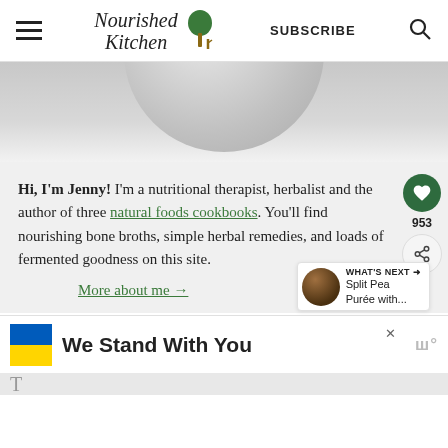Nourished Kitchen — SUBSCRIBE
[Figure (photo): Partial circular dish photo, grey/white tones, cropped at top]
Hi, I'm Jenny! I'm a nutritional therapist, herbalist and the author of three natural foods cookbooks. You'll find nourishing bone broths, simple herbal remedies, and loads of fermented goodness on this site.
More about me →
[Figure (photo): Small circular thumbnail of Split Pea Purée dish]
WHAT'S NEXT → Split Pea Purée with...
[Figure (infographic): Ukrainian flag colors (blue and yellow) with text: We Stand With You]
We Stand With You